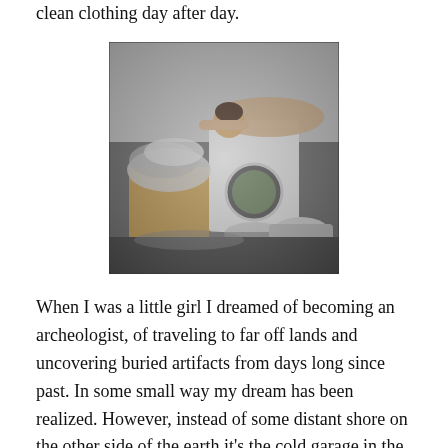clean clothing day after day.
[Figure (photo): Black and white photograph of a woman lying exhausted on top of a washing machine surrounded by overflowing laundry baskets and piles of clothes on the floor.]
When I was a little girl I dreamed of becoming an archeologist, of traveling to far off lands and uncovering buried artifacts from days long since past. In some small way my dream has been realized. However, instead of some distant shore on the other side of the earth it's the cold garage in the back of the house and instead of